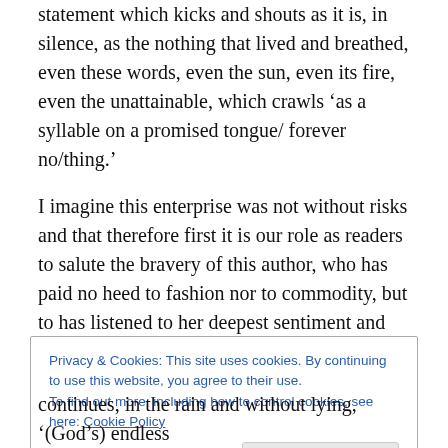statement which kicks and shouts as it is, in silence, as the nothing that lived and breathed, even these words, even the sun, even its fire, even the unattainable, which crawls ‘as a syllable on a promised tongue/ forever no/thing.’
I imagine this enterprise was not without risks and that therefore first it is our role as readers to salute the bravery of this author, who has paid no heed to fashion nor to commodity, but to has listened to her deepest sentiment and revealed with such harsh and beautiful invective, the
Privacy & Cookies: This site uses cookies. By continuing to use this website, you agree to their use.
To find out more, including how to control cookies, see here: Cookie Policy
Close and accept
continues, in the rain and without lying, ‘(God’s) endless